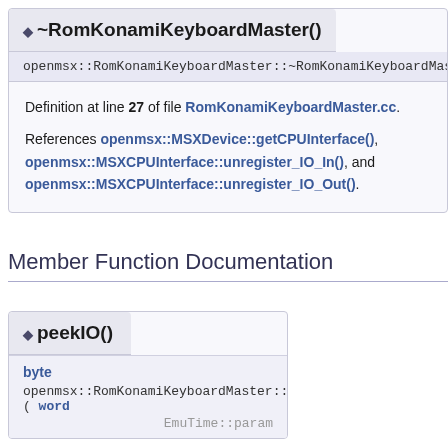◆ ~RomKonamiKeyboardMaster()
openmsx::RomKonamiKeyboardMaster::~RomKonamiKeyboardMast
Definition at line 27 of file RomKonamiKeyboardMaster.cc.
References openmsx::MSXDevice::getCPUInterface(), openmsx::MSXCPUInterface::unregister_IO_In(), and openmsx::MSXCPUInterface::unregister_IO_Out().
Member Function Documentation
◆ peekIO()
byte
openmsx::RomKonamiKeyboardMaster::peekIO ( word
EmuTime::param